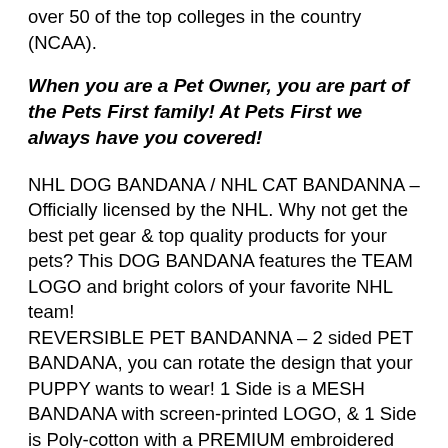over 50 of the top colleges in the country (NCAA).
When you are a Pet Owner, you are part of the Pets First family! At Pets First we always have you covered!
NHL DOG BANDANA / NHL CAT BANDANNA – Officially licensed by the NHL. Why not get the best pet gear & top quality products for your pets? This DOG BANDANA features the TEAM LOGO and bright colors of your favorite NHL team! REVERSIBLE PET BANDANNA – 2 sided PET BANDANA, you can rotate the design that your PUPPY wants to wear! 1 Side is a MESH BANDANA with screen-printed LOGO, & 1 Side is Poly-cotton with a PREMIUM embroidered TEAM LOGO! The OUTER WRAP & NAWI Bandana...